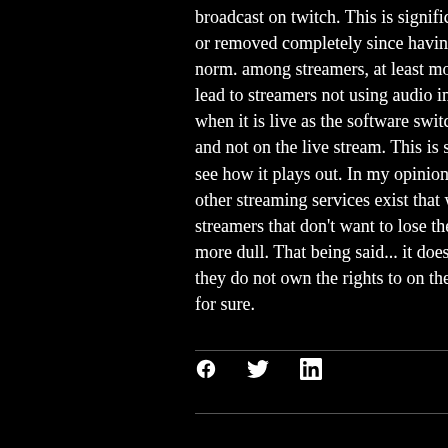broadcast on twitch. This is significant because it will or removed completely since having music playing wi norm. among streamers, at least most of the streame lead to streamers not using audio in their broadcasts when it is live as the software switch is using is only d and not on the live stream. This is significant and nev see how it plays out. In my opinion this will likely play other streaming services exist that will likely not sca streamers that don't want to lose their music, which more dull. That being said... it does make sense, they they do not own the rights to on their channels. This  for sure.
[Figure (other): Social share icons: Facebook, Twitter, LinkedIn]